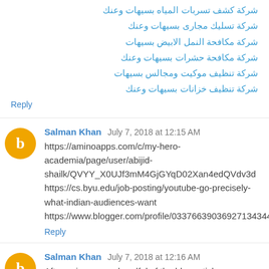شركة كشف تسربات المياه بسيهات وعنك
شركة تسليك مجارى بسيهات وعنك
شركة مكافحة النمل الابيض بسيهات
شركة مكافحة حشرات بسيهات وعنك
شركة تنظيف موكيت ومجالس بسيهات
شركة تنظيف خزانات بسيهات وعنك
Reply
Salman Khan  July 7, 2018 at 12:15 AM
https://aminoapps.com/c/my-hero-academia/page/user/abijid-shailk/QVYY_X0UJf3mM4GjGYqD02Xan4edQVdv3d
https://cs.byu.edu/job-posting/youtube-go-precisely-what-indian-audiences-want
https://www.blogger.com/profile/03376639036927134344
Reply
Salman Khan  July 7, 2018 at 12:16 AM
After going over a handful of the blog articles on your